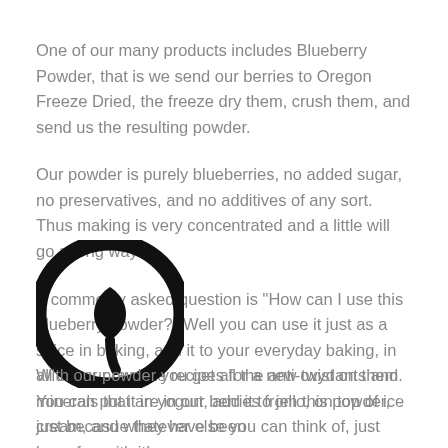One of our many products includes Blueberry Powder, that is we send our berries to Oregon Freeze Dried, the freeze dry them, crush them, and send us the resulting powder.
Our powder is purely blueberries, no added sugar, no preservatives, and no additives of any sort. Thus making is very concentrated and a little will go a long way.
A commonly asked question is "How can I use this blueberry powder?" Well you can use it just as a spice in baking, add it to your everyday baking, in all of your favorite recipes for a new twist on them. You can put it in yogurt, add it to jello, on top of ice cream, and whatever else you can think of, just have fun with it!
[Figure (logo): Black circular logo mark]
With our powder you get all the anti-oxydants and minerals that are in our berries from this powder, just becasue they have been